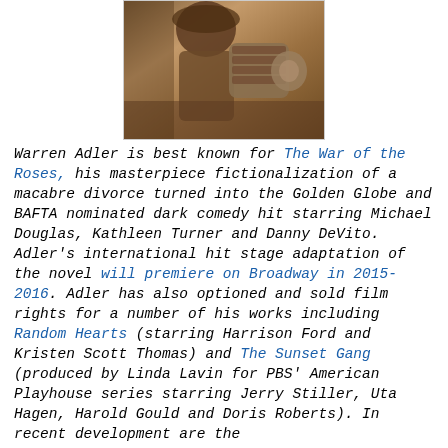[Figure (photo): Sepia-toned vintage photograph of a person near a mechanical lamp or projector device]
Warren Adler is best known for The War of the Roses, his masterpiece fictionalization of a macabre divorce turned into the Golden Globe and BAFTA nominated dark comedy hit starring Michael Douglas, Kathleen Turner and Danny DeVito. Adler's international hit stage adaptation of the novel will premiere on Broadway in 2015-2016. Adler has also optioned and sold film rights for a number of his works including Random Hearts (starring Harrison Ford and Kristen Scott Thomas) and The Sunset Gang (produced by Linda Lavin for PBS' American Playhouse series starring Jerry Stiller, Uta Hagen, Harold Gould and Doris Roberts). In recent development are the